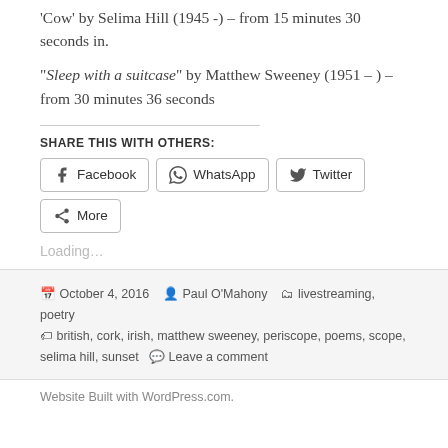"Cow" by Selima Hill (1945 -) – from 15 minutes 30 seconds in.
"Sleep with a suitcase" by Matthew Sweeney (1951 – ) – from 30 minutes 36 seconds
SHARE THIS WITH OTHERS:
[Figure (other): Social share buttons: Facebook, WhatsApp, Twitter, More]
Loading...
October 4, 2016  Paul O'Mahony  livestreaming, poetry  british, cork, irish, matthew sweeney, periscope, poems, scope, selima hill, sunset  Leave a comment
Website Built with WordPress.com.